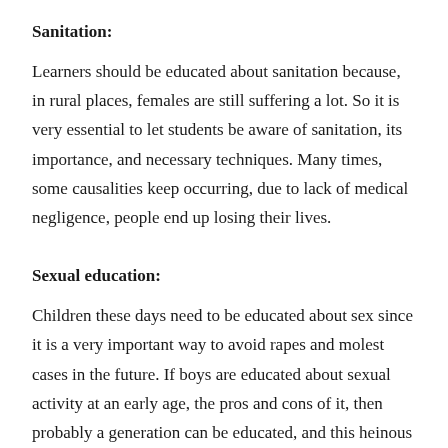Sanitation:
Learners should be educated about sanitation because, in rural places, females are still suffering a lot. So it is very essential to let students be aware of sanitation, its importance, and necessary techniques. Many times, some causalities keep occurring, due to lack of medical negligence, people end up losing their lives.
Sexual education:
Children these days need to be educated about sex since it is a very important way to avoid rapes and molest cases in the future. If boys are educated about sexual activity at an early age, the pros and cons of it, then probably a generation can be educated, and this heinous crime of harassing women can certainly be eradicated from society.